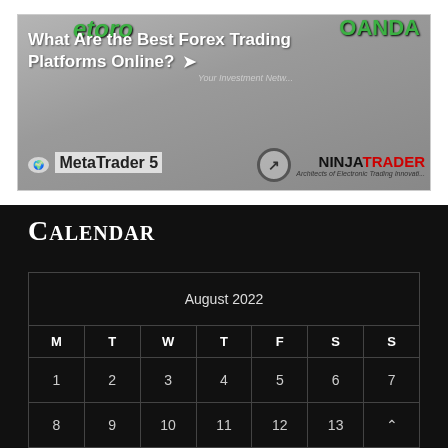[Figure (screenshot): Screenshot showing forex trading platform logos including eToro, OANDA, MetaTrader 5, and NinjaTrader with text 'What Are the Best Forex Trading Platforms Online?']
Calendar
| M | T | W | T | F | S | S |
| --- | --- | --- | --- | --- | --- | --- |
| August 2022 |
| M | T | W | T | F | S | S |
| 1 | 2 | 3 | 4 | 5 | 6 | 7 |
| 8 | 9 | 10 | 11 | 12 | 13 |  |
| 15 | 16 | 17 | 18 | 19 | 20 | 21 |